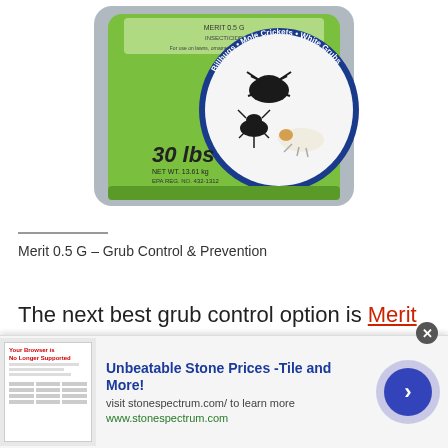[Figure (photo): A green 30 lb bag of Merit 0.5 G insecticide product with images of billbugs, mole crickets, and white grubs on the label, shown against a white background.]
Merit 0.5 G – Grub Control & Prevention
The next best grub control option is Merit 0.5 G made by Bayer. It has the active ingredient imidacloprid. Merit must be applied early to the
[Figure (screenshot): Advertisement banner: 'Unbeatable Stone Prices -Tile and More!' with subtext 'visit stonespectrum.com/ to learn more' and 'www.stonespectrum.com', with a thumbnail of a browser screenshot and a blue circular arrow button.]